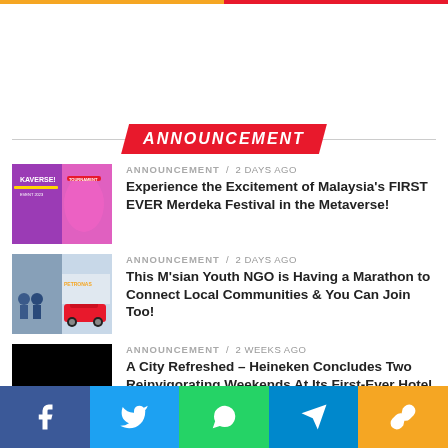ANNOUNCEMENT
ANNOUNCEMENT
[Figure (photo): Purple/pink event poster for metaverse festival]
ANNOUNCEMENT / 2 days ago
Experience the Excitement of Malaysia's FIRST EVER Merdeka Festival in the Metaverse!
[Figure (photo): Youth NGO marathon event with people and a red car]
ANNOUNCEMENT / 2 days ago
This M'sian Youth NGO is Having a Marathon to Connect Local Communities & You Can Join Too!
[Figure (photo): Black image placeholder for Heineken hotel takeover article]
ANNOUNCEMENT / 2 weeks ago
A City Refreshed – Heineken Concludes Two Reinvigorating Weekends At Its First-Ever Hotel Takeover!
Facebook Twitter WhatsApp Telegram Share